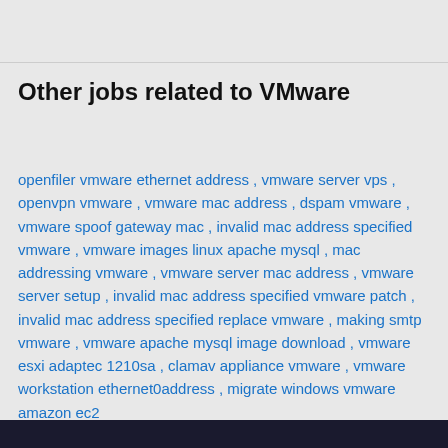Other jobs related to VMware
openfiler vmware ethernet address , vmware server vps , openvpn vmware , vmware mac address , dspam vmware , vmware spoof gateway mac , invalid mac address specified vmware , vmware images linux apache mysql , mac addressing vmware , vmware server mac address , vmware server setup , invalid mac address specified vmware patch , invalid mac address specified replace vmware , making smtp vmware , vmware apache mysql image download , vmware esxi adaptec 1210sa , clamav appliance vmware , vmware workstation ethernet0address , migrate windows vmware amazon ec2